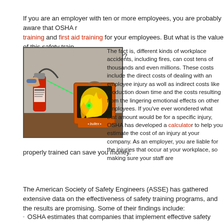If you are an employer with ten or more employees, you are probably aware that OSHA requires fire safety training and first aid training for your employees. But what is the value of this safety training? Does it make a real difference, or is it just a technicality?
[Figure (photo): A person holding a red fire extinguisher pointed at a glowing yellow-green fire simulation device labeled 'bullex' on a wooden surface.]
The fact is, different kinds of workplace accidents, including fires, can cost tens of thousands and even millions. These costs include the direct costs of dealing with an employee injury as well as indirect costs like production down time and the costs resulting from the lingering emotional effects on other employees. If you've ever wondered what that amount would be for a specific injury, OSHA has developed a calculator to help you estimate the cost of an injury at your company. As an employer, you are liable for the injuries that occur at your workplace, so making sure your staff are properly trained can save you money.
The American Society of Safety Engineers (ASSE) has gathered extensive data on the effectiveness of safety training programs, and the results are promising. Some of their findings include:
OSHA estimates that companies that implement effective safety programs can